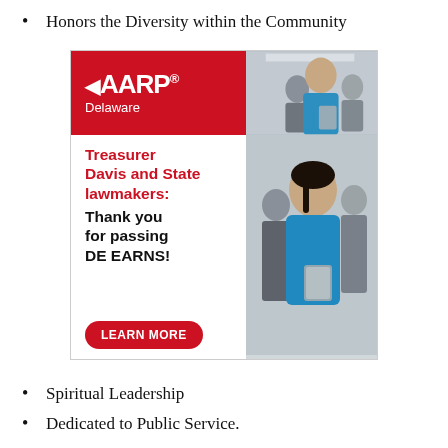Honors the Diversity within the Community
[Figure (advertisement): AARP Delaware advertisement thanking Treasurer Davis and State lawmakers for passing DE EARNS, with a Learn More button and photo of a smiling woman in blue holding a tablet.]
Spiritual Leadership
Dedicated to Public Service.
The selection committee reserves the right to